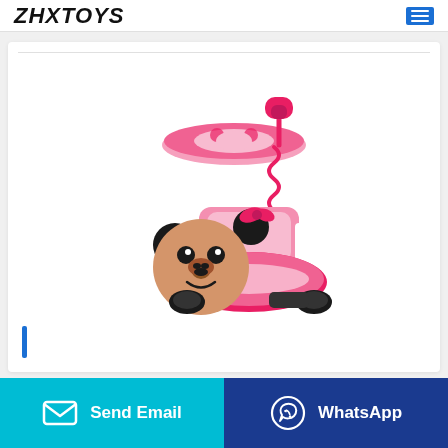ZHXTOYS
[Figure (photo): Pink Minnie Mouse ride-on push car toy with canopy/umbrella featuring Minnie Mouse graphic, spring-loaded handle, safety rail, and Minnie Mouse face on front]
Send Email
WhatsApp